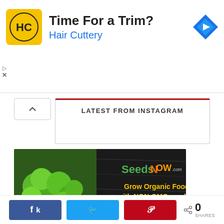[Figure (infographic): Hair Cuttery advertisement banner with logo and arrow icon. Text: Time For a Trim? Hair Cuttery]
LATEST FROM INSTAGRAM
[Figure (infographic): SeedsNow advertisement showing broccoli and vegetables with text: Grow Organic Food with NON-GMO seeds. Get 10% OFF your Order with: SAVE10NOW]
[Figure (infographic): Social share bar with Facebook, Twitter, Pinterest buttons and 0 SHARES count]